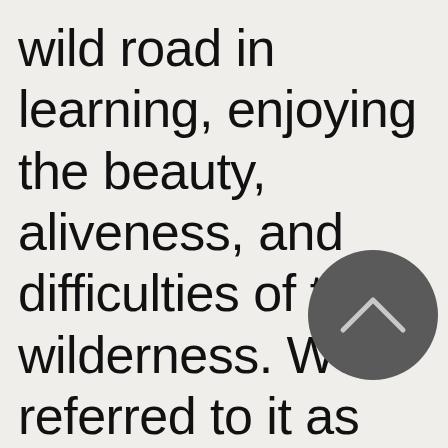wild road in learning, enjoying the beauty, aliveness, and difficulties of the wilderness. We referred to it as ÔÇ£House of WisdomÔÇØ (inspired by Beit al-Hikmah in Baghdad 1200...
[Figure (illustration): Dark grey circle with a light chevron/caret (upward pointing arrow) symbol inside, overlaid on the text in the lower right area of the page.]